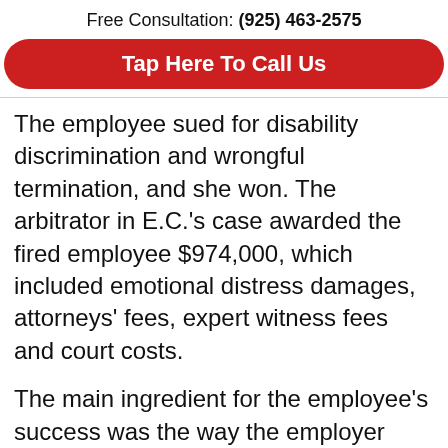Free Consultation: (925) 463-2575
[Figure (other): Red rounded button reading 'Tap Here To Call Us']
The employee sued for disability discrimination and wrongful termination, and she won. The arbitrator in E.C.'s case awarded the fired employee $974,000, which included emotional distress damages, attorneys' fees, expert witness fees and court costs.
The main ingredient for the employee's success was the way the employer crafted its company policies. The employer's “90 day modified duty policy” was not, as applied to workers like E.C., compliant with the law.
In E.C.’s case, there appears to have been a